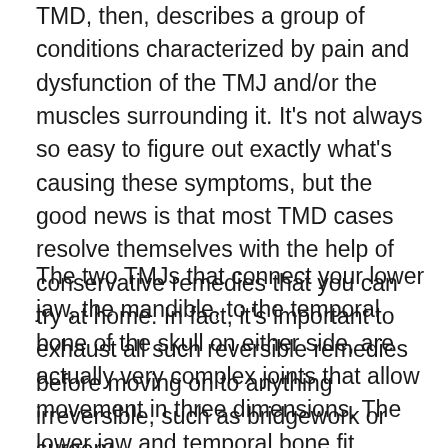TMD, then, describes a group of conditions characterized by pain and dysfunction of the TMJ and/or the muscles surrounding it. It's not always so easy to figure out exactly what's causing these symptoms, but the good news is that most TMD cases resolve themselves with the help of conservative remedies that you can try at home. In fact, it's important to exhaust all such reversible remedies before moving on to anything irreversible, such as bridgework or surgery.
The two TMJs that connect your lower jaw, the mandible, to the temporal bone of the skull on either side, are actually very complex joints that allow movement in three dimensions. The lower jaw and temporal bone fit together as a ball and socket, with a cushioning disk in between. Large pairs of muscles in the cheeks and temples move the lower jaw. Any of